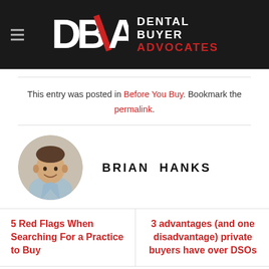Dental Buyer Advocates
This entry was posted in Before You Buy. Bookmark the permalink.
[Figure (photo): Circular headshot photo of Brian Hanks, a man in a light blue shirt, smiling.]
BRIAN HANKS
5 Red Flags When Searching For a Practice to Buy
3 advantages (and one disadvantage) private buyers have over DSOs